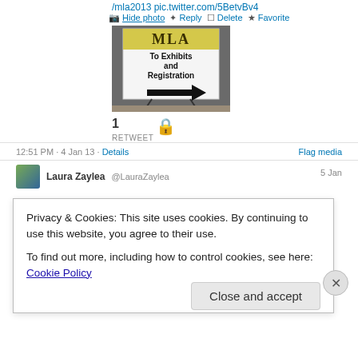/mla2013 pic.twitter.com/5BetvBv4
Hide photo  Reply  Delete  Favorite
[Figure (photo): Photo of an MLA conference sign on an easel reading 'MLA To Exhibits and Registration' with a right-pointing arrow, taken indoors on a tiled floor.]
1 RETWEET
12:51 PM - 4 Jan 13 · Details
Flag media
Laura Zaylea @LauraZaylea  5 Jan
Privacy & Cookies: This site uses cookies. By continuing to use this website, you agree to their use.
To find out more, including how to control cookies, see here: Cookie Policy
Close and accept